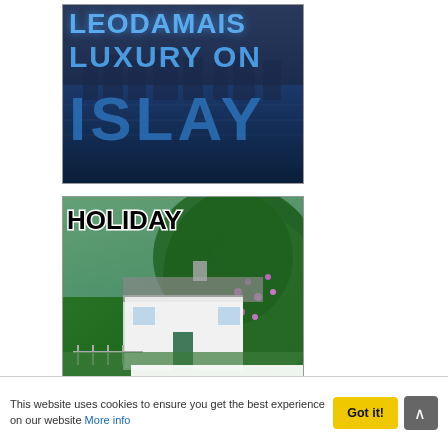[Figure (photo): Leodamais Luxury on Islay advertisement banner with blue text on dark background with harbor image]
[Figure (photo): Holiday on Islay Estate advertisement with cottage and garden photo, green foliage background]
[Figure (photo): Book Your Islay Trip Here advertisement banner with blue sky background]
This website uses cookies to ensure you get the best experience on our website More info
Got it!